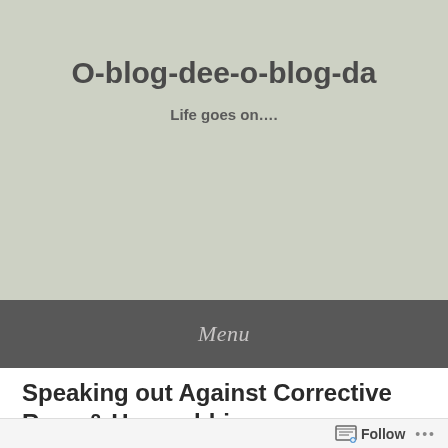O-blog-dee-o-blog-da
Life goes on....
Menu
Speaking out Against Corrective Rape & Homophbia
Follow ...